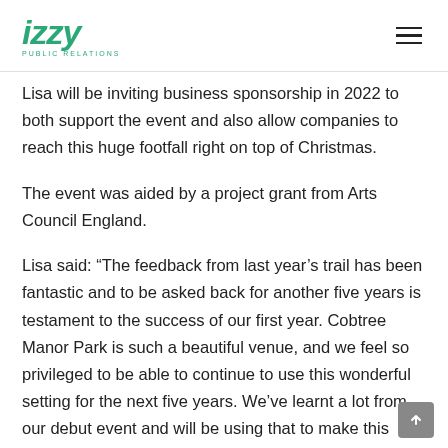izzy PUBLIC RELATIONS
Lisa will be inviting business sponsorship in 2022 to both support the event and also allow companies to reach this huge footfall right on top of Christmas.
The event was aided by a project grant from Arts Council England.
Lisa said: “The feedback from last year’s trail has been fantastic and to be asked back for another five years is testament to the success of our first year. Cobtree Manor Park is such a beautiful venue, and we feel so privileged to be able to continue to use this wonderful setting for the next five years. We’ve learnt a lot from our debut event and will be using that to make this year’s even more magical and most importantly, accessible and inclusive, because